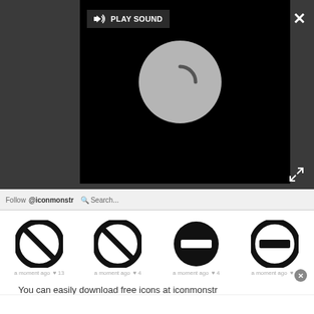[Figure (screenshot): Dark overlay with video player showing loading spinner and PLAY SOUND button. Close X button top right. Expand/fullscreen icon bottom right of overlay.]
[Figure (screenshot): Website navigation bar for iconmonstr with Follow, Search fields and icons]
[Figure (infographic): Four black prohibition/minus icons in a row with metadata: a moment ago, heart counts 13, 4, 4, 2]
You can easily download free icons at iconmonstr
The iconmonstr website is a great place to find black